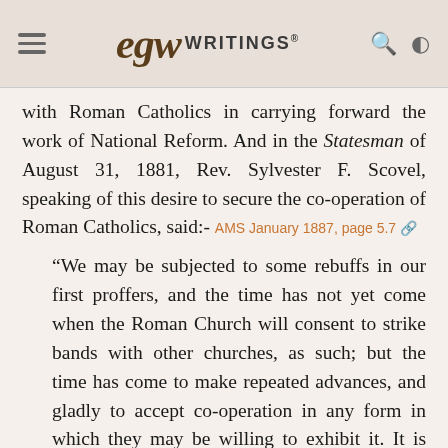EGW Writings
with Roman Catholics in carrying forward the work of National Reform. And in the Statesman of August 31, 1881, Rev. Sylvester F. Scovel, speaking of this desire to secure the co-operation of Roman Catholics, said:- AMS January 1887, page 5.7
“We may be subjected to some rebuffs in our first proffers, and the time has not yet come when the Roman Church will consent to strike bands with other churches, as such; but the time has come to make repeated advances, and gladly to accept co-operation in any form in which they may be willing to exhibit it. It is one of the necessities of the situation.” AMS January 1887, page 5.8
Now when we remember what the Catholic